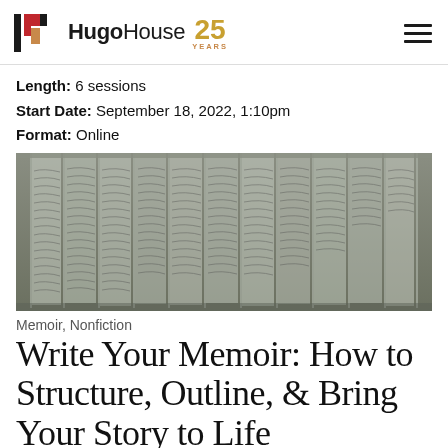Hugo House 25 YEARS
Length: 6 sessions
Start Date: September 18, 2022, 1:10pm
Format: Online
[Figure (photo): Sheets of transparent or fabric panels hanging vertically, each covered in handwritten cursive script, displayed like curtains or pages in an installation art piece.]
Memoir, Nonfiction
Write Your Memoir: How to Structure, Outline, & Bring Your Story to Life